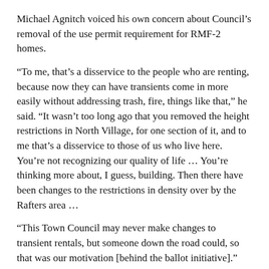Michael Agnitch voiced his own concern about Council's removal of the use permit requirement for RMF-2 homes.
“To me, that’s a disservice to the people who are renting, because now they can have transients come in more easily without addressing trash, fire, things like that,” he said. “It wasn’t too long ago that you removed the height restrictions in North Village, for one section of it, and to me that’s a disservice to those of us who live here. You’re not recognizing our quality of life … You’re thinking more about, I guess, building. Then there have been changes to the restrictions in density over by the Rafters area …
“This Town Council may never make changes to transient rentals, but someone down the road could, so that was our motivation [behind the ballot initiative].”
But Council member Wentworth argued that in spite of Council’s aforementioned actions, his own stance on SFR hadn’t changed since his campaign.
“Back in the campaign, I sent a letter out … to all the constituents of the community, that advised that I was committed to preserving the integrity of our residential neighborhoods,” he said. “And I still stand